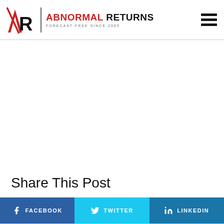ABNORMAL RETURNS — FORECAST-FREE SINCE 2005
Share This Post
FACEBOOK | TWITTER | LINKEDIN